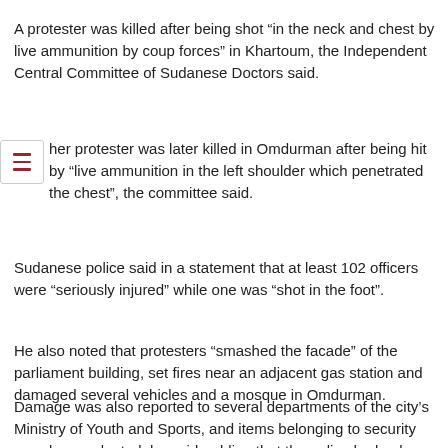A protester was killed after being shot “in the neck and chest by live ammunition by coup forces” in Khartoum, the Independent Central Committee of Sudanese Doctors said.
Another protester was later killed in Omdurman after being hit by “live ammunition in the left shoulder which penetrated the chest”, the committee said.
Sudanese police said in a statement that at least 102 officers were “seriously injured” while one was “shot in the foot”.
He also noted that protesters “smashed the facade” of the parliament building, set fires near an adjacent gas station and damaged several vehicles and a mosque in Omdurman.
Damage was also reported to several departments of the city’s Ministry of Youth and Sports, and items belonging to security guards were looted, he said, adding that the police had only done so.